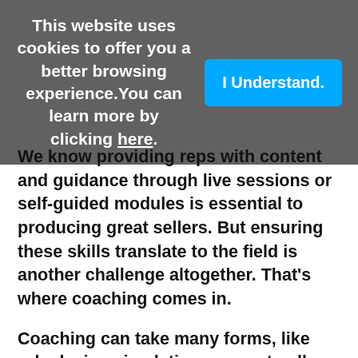This website uses cookies to offer you a better browsing experience. You can learn more by clicking here.
I Understand.
We know providing reps with content and guidance through live sessions or self-guided modules is essential to producing great sellers. But ensuring these skills translate to the field is another challenge altogether. That's where coaching comes in.
Coaching can take many forms, like roleplaying simulations or post-call critiques. These interactive sessions help reps bridge the gap between knowing what to say and actually doing so with confidence. In fact, coaching can grow knowledge retention from 10% to 90%, or a 100% absolute increase.